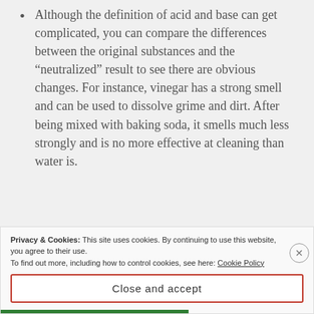Although the definition of acid and base can get complicated, you can compare the differences between the original substances and the “neutralized” result to see there are obvious changes. For instance, vinegar has a strong smell and can be used to dissolve grime and dirt. After being mixed with baking soda, it smells much less strongly and is no more effective at cleaning than water is.
Privacy & Cookies: This site uses cookies. By continuing to use this website, you agree to their use.
To find out more, including how to control cookies, see here: Cookie Policy
Close and accept